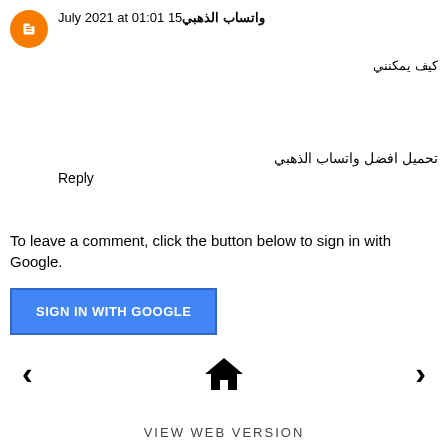واتساب الذهبي15 July 2021 at 01:01
كيف يمكنني
تحميل افضل واتساب الذهبي
Reply
To leave a comment, click the button below to sign in with Google.
SIGN IN WITH GOOGLE
VIEW WEB VERSION